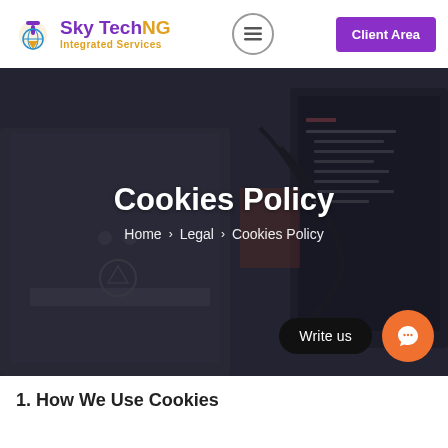[Figure (logo): SkyTechNG Integrated Services logo with purple and gold coloring]
Client Area
[Figure (photo): Dark technology background showing backs of laptop and monitor screens with code visible]
Cookies Policy
Home > Legal > Cookies Policy
1. How We Use Cookies